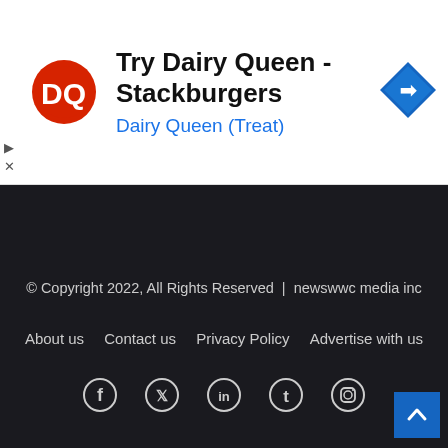[Figure (screenshot): Dairy Queen advertisement banner with DQ logo, text 'Try Dairy Queen - Stackburgers' and 'Dairy Queen (Treat)', and a navigation arrow icon on the right]
ctive in U.S. Study
© Copyright 2022, All Rights Reserved | newswwc media inc
About us  Contact us  Privacy Policy  Advertise with us
[Figure (infographic): Social media icons row: Facebook, Twitter, LinkedIn, Tumblr, Instagram]